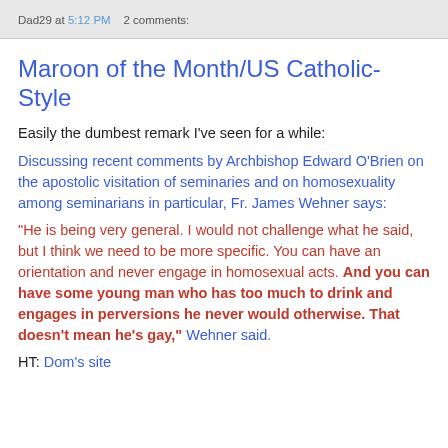Dad29 at 5:12 PM    2 comments:
Maroon of the Month/US Catholic-Style
Easily the dumbest remark I've seen for a while:
Discussing recent comments by Archbishop Edward O'Brien on the apostolic visitation of seminaries and on homosexuality among seminarians in particular, Fr. James Wehner says:
"He is being very general. I would not challenge what he said, but I think we need to be more specific. You can have an orientation and never engage in homosexual acts. And you can have some young man who has too much to drink and engages in perversions he never would otherwise. That doesn't mean he's gay," Wehner said.
HT: Dom's site